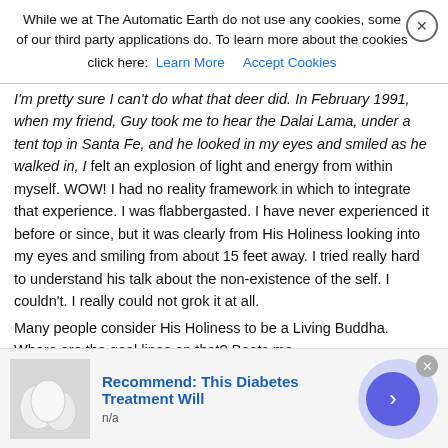While we at The Automatic Earth do not use any cookies, some of our third party applications do. To learn more about the cookies click here: Learn More  Accept Cookies
I'm pretty sure I can't do what that deer did. In February 1991, when my friend, Guy took me to hear the Dalai Lama, under a tent top in Santa Fe, and he looked in my eyes and smiled as he walked in, I felt an explosion of light and energy from within myself. WOW! I had no reality framework in which to integrate that experience. I was flabbergasted. I have never experienced it before or since, but it was clearly from His Holiness looking into my eyes and smiling from about 15 feet away. I tried really hard to understand his talk about the non-existence of the self. I couldn't. I really could not grok it at all.
Many people consider His Holiness to be a Living Buddha. Where are the goal lines on that? Beats me.
Deer do this thing in a deer way from over 100 yards, or at least one does, to me, once. It was a different thing from the Dalai Lama, but it was almost as total of an experience, and from a much longer distance.
You don't have to believe this. I'm not asking that. You might or might not ever experience anything like this. It did get me thinking that the
Recommend: This Diabetes Treatment Will
n/a